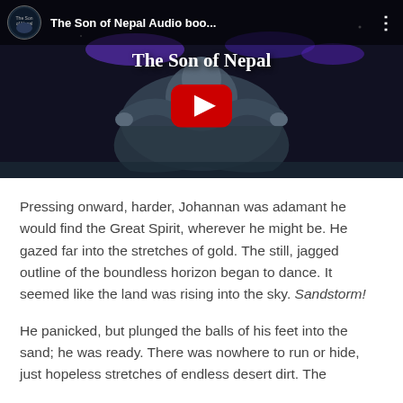[Figure (screenshot): YouTube video thumbnail for 'The Son of Nepal Audio boo...' showing an animated character with outstretched arms against a dark blue background, with a red YouTube play button overlay and channel icon in the top left.]
Pressing onward, harder, Johannan was adamant he would find the Great Spirit, wherever he might be. He gazed far into the stretches of gold. The still, jagged outline of the boundless horizon began to dance. It seemed like the land was rising into the sky. Sandstorm!
He panicked, but plunged the balls of his feet into the sand; he was ready. There was nowhere to run or hide, just hopeless stretches of endless desert dirt. The